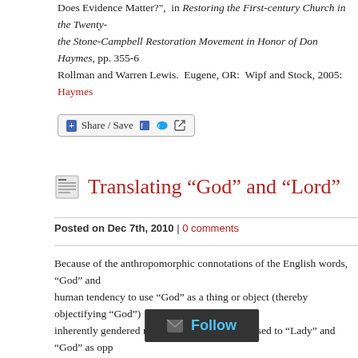Does Evidence Matter?",  in Restoring the First-century Church in the Twenty-... the Stone-Campbell Restoration Movement in Honor of Don Haymes, pp. 355-6... Rollman and Warren Lewis.  Eugene, OR:  Wipf and Stock, 2005:  Haymes
[Figure (other): Share/Save social media button with Facebook, Twitter, and share icons]
Translating “God” and “Lord”
Posted on Dec 7th, 2010 | 0 comments
Because of the anthropomorphic connotations of the English words, “God” and... human tendency to use “God” as a thing or object (thereby objectifying “God”)... inherently gendered meanings (“Lord” as opposed to “Lady” and “God” as opp... these words have too much baggage to use in current translations of the Hebre... often replace “God” with “THE ALL” and “LORD GOD” with “ALL THAT IS... simply use “SOURCE.” This will no doubt prove strange for many readers, but... part of the process of reacquainting oneself with the deeper meanings of the bib... translations also have the advantage of preserving the actual significance of the... have become ossified in English (and other modern languages) translations and... original meanings.
[Figure (other): Follow email subscription overlay button]